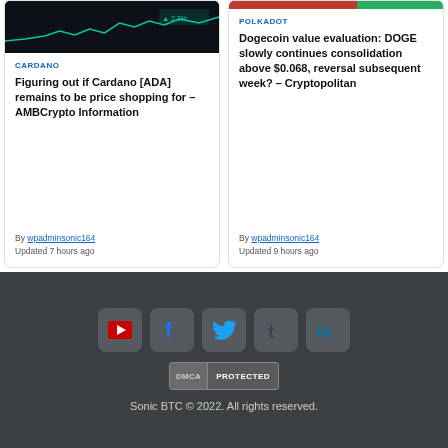[Figure (screenshot): Dark candlestick chart background for Cardano card]
CARDANO
Figuring out if Cardano [ADA] remains to be price shopping for – AMBCrypto Information
By wpadminsonic164
Updated 7 hours ago
[Figure (screenshot): Colored bar image for Polkadot card]
POLKADOT
Dogecoin value evaluation: DOGE slowly continues consolidation above $0.068, reversal subsequent week? – Cryptopolitan
By wpadminsonic164
Updated 9 hours ago
[Figure (infographic): Social media icon buttons: YouTube, Facebook, Twitter, Tumblr, LinkedIn]
[Figure (other): DMCA PROTECTED badge]
Sonic BTC © 2022. All rights reserved.